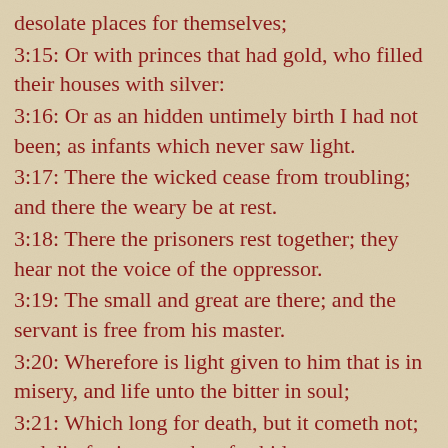desolate places for themselves;
3:15: Or with princes that had gold, who filled their houses with silver:
3:16: Or as an hidden untimely birth I had not been; as infants which never saw light.
3:17: There the wicked cease from troubling; and there the weary be at rest.
3:18: There the prisoners rest together; they hear not the voice of the oppressor.
3:19: The small and great are there; and the servant is free from his master.
3:20: Wherefore is light given to him that is in misery, and life unto the bitter in soul;
3:21: Which long for death, but it cometh not; and dig for it more than for hid treasures;
3:22: Which rejoice exceedingly, and are glad, when they can find the grave?
3:23: Why is light given to a man whose way is hid, and whom God hath hedged in?
3:24: For my sighing cometh before I eat, and my roarings are poured out like the waters.
3:25: For the thing which I greatly feared is come upon me